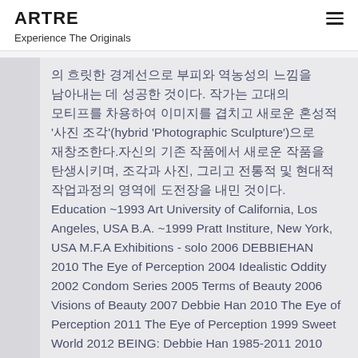ARTRE
Experience The Originals
의 흐릿한 경계선으로 부피와 역농성의 느낌을 남아내는 데 성공한 것이다. 작가는 고대의 모티프를 차용하여 이미지를 겹치고 새로운 혼성적 '사진 조각'(hybrid 'Photographic Sculpture')으로 재창조한다.자신의 기존 작품에서 새로운 작품을 탄생시키며, 조각과 사진, 그리고 전통적 및 현대적 작업과정의 영역에 도전장을 내민 것이다. Education ~1993 Art University of California, Los Angeles, USA B.A. ~1999 Pratt Institure, New York, USA M.F.A Exhibitions - solo 2006 DEBBIEHAN 2010 The Eye of Perception 2004 Idealistic Oddity 2002 Condom Series 2005 Terms of Beauty 2006 Visions of Beauty 2007 Debbie Han 2010 The Eye of Perception 2011 The Eye of Perception 1999 Sweet World 2012 BEING: Debbie Han 1985-2011 2010 The Eye of Perception 2008 Hybrid Graces 2009 Hybrid Graces 2015 To See What Eyes Cannot See